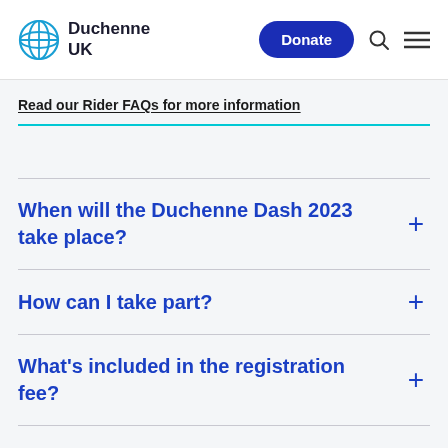Duchenne UK — navigation bar with logo, Donate button, search and menu icons
Read our Rider FAQs for more information
When will the Duchenne Dash 2023 take place?
How can I take part?
What's included in the registration fee?